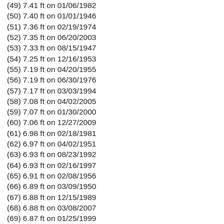(49) 7.41 ft on 01/06/1982
(50) 7.40 ft on 01/01/1946
(51) 7.36 ft on 02/19/1974
(52) 7.35 ft on 06/20/2003
(53) 7.33 ft on 08/15/1947
(54) 7.25 ft on 12/16/1953
(55) 7.19 ft on 04/20/1955
(56) 7.19 ft on 06/30/1976
(57) 7.17 ft on 03/03/1994
(58) 7.08 ft on 04/02/2005
(59) 7.07 ft on 01/30/2000
(60) 7.06 ft on 12/27/2009
(61) 6.98 ft on 02/18/1981
(62) 6.97 ft on 04/02/1951
(63) 6.93 ft on 08/23/1992
(64) 6.93 ft on 02/16/1997
(65) 6.91 ft on 02/08/1956
(66) 6.89 ft on 03/09/1950
(67) 6.88 ft on 12/15/1989
(68) 6.88 ft on 03/08/2007
(69) 6.87 ft on 01/25/1999
(70) 6.87 ft on 04/12/1989
(71) 6.74 ft on 03/06/2009
(72) 6.70 ft on 03/27/1957
(73) 6.64 ft on 02/28/2004
(74) 6.73 ft on 03/31/2001